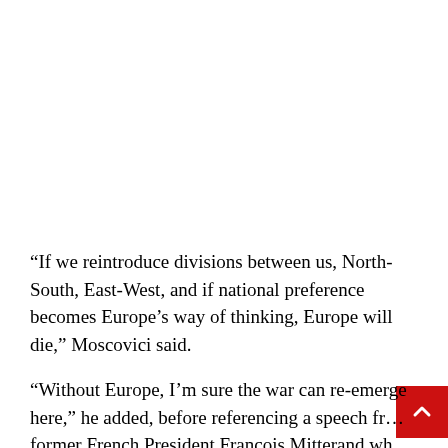“If we reintroduce divisions between us, North-South, East-West, and if national preference becomes Europe’s way of thinking, Europe will die,” Moscovici said.
“Without Europe, I’m sure the war can re-emerge here,” he added, before referencing a speech from former French President François Mitterand who